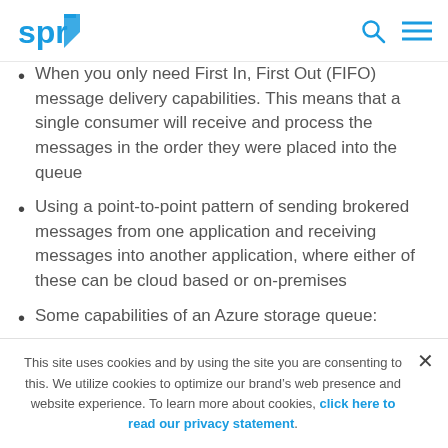spr [logo]
When you only need First In, First Out (FIFO) message delivery capabilities. This means that a single consumer will receive and process the messages in the order they were placed into the queue
Using a point-to-point pattern of sending brokered messages from one application and receiving messages into another application, where either of these can be cloud based or on-premises
Some capabilities of an Azure storage queue:
A decoupled or asynchronous and durable
This site uses cookies and by using the site you are consenting to this. We utilize cookies to optimize our brand’s web presence and website experience. To learn more about cookies, click here to read our privacy statement.